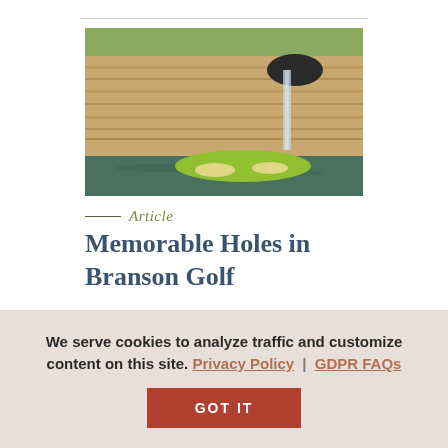[Figure (photo): A dramatic golf hole with a green island surrounded by water, set against tall layered limestone cliffs with a waterfall cascading down in the background.]
Article
Memorable Holes in Branson Golf
We serve cookies to analyze traffic and customize content on this site. Privacy Policy | GDPR FAQs
GOT IT